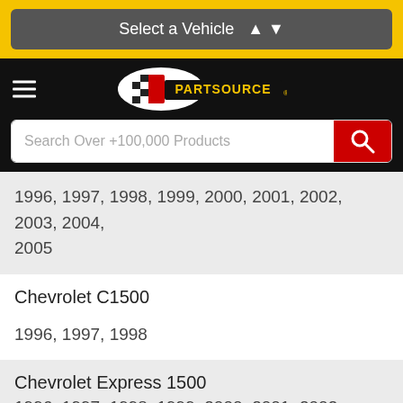Select a Vehicle
[Figure (logo): PartSource logo with checkered flag on black background]
Search Over +100,000 Products
1996, 1997, 1998, 1999, 2000, 2001, 2002, 2003, 2004, 2005
Chevrolet C1500
1996, 1997, 1998
Chevrolet Express 1500
1996, 1997, 1998, 1999, 2000, 2001, 2002, 2003, 2004, 2005, 2006, 2007
Chevrolet Express 2500